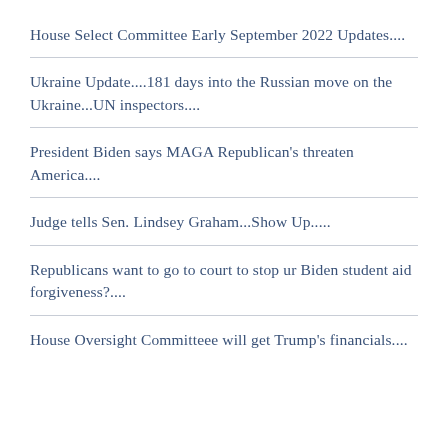House Select Committee Early September 2022 Updates....
Ukraine Update....181 days into the Russian move on the Ukraine...UN inspectors....
President Biden says MAGA Republican's threaten America....
Judge tells Sen. Lindsey Graham...Show Up.....
Republicans want to go to court to stop ur Biden student aid forgiveness?....
House Oversight Committeee will get Trump's financials....